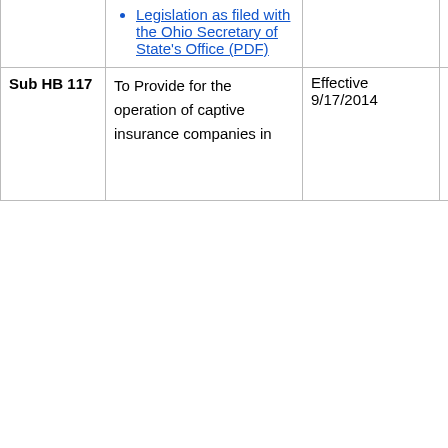Legislation as enrolled with the Ohio Legislature
Legislation as filed with the Ohio Secretary of State's Office (PDF)
| Bill | Description | Status | ORC Sections |
| --- | --- | --- | --- |
| Sub HB 117 | To Provide for the operation of captive insurance companies in | Effective 9/17/2014 | 4123.35, 39 3964.15, 39 3964.171, 3 3964.173, 3 3964.175, 3 |